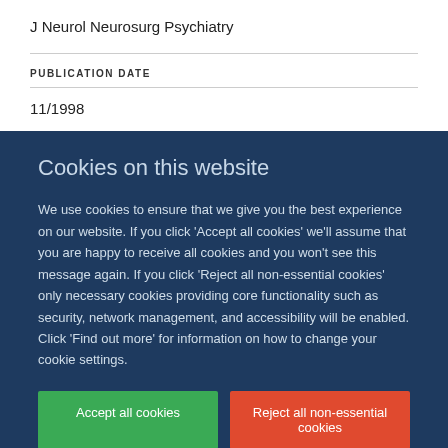J Neurol Neurosurg Psychiatry
PUBLICATION DATE
11/1998
Cookies on this website
We use cookies to ensure that we give you the best experience on our website. If you click 'Accept all cookies' we'll assume that you are happy to receive all cookies and you won't see this message again. If you click 'Reject all non-essential cookies' only necessary cookies providing core functionality such as security, network management, and accessibility will be enabled. Click 'Find out more' for information on how to change your cookie settings.
Accept all cookies
Reject all non-essential cookies